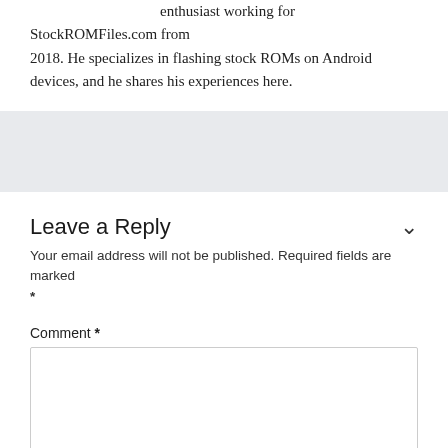enthusiast working for StockROMFiles.com from 2018. He specializes in flashing stock ROMs on Android devices, and he shares his experiences here.
Leave a Reply
Your email address will not be published. Required fields are marked *
Comment *